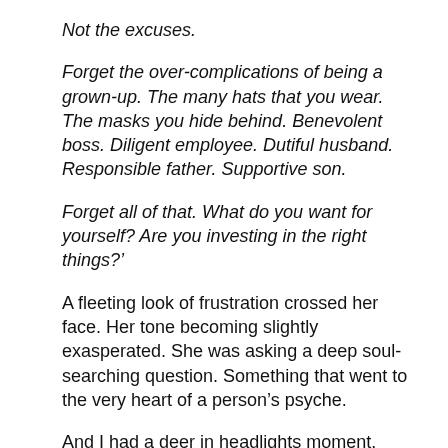Not the excuses.
Forget the over-complications of being a grown-up. The many hats that you wear. The masks you hide behind. Benevolent boss. Diligent employee. Dutiful husband. Responsible father. Supportive son.
Forget all of that. What do you want for yourself? Are you investing in the right things?'
A fleeting look of frustration crossed her face. Her tone becoming slightly exasperated. She was asking a deep soul-searching question. Something that went to the very heart of a person’s psyche.
And I had a deer in headlights moment. Mouth opening and closing like a goldfish. I had nothing.
I was seated on an uncomfortable chair, opposite an earnest and well-meaning therapist who was asking